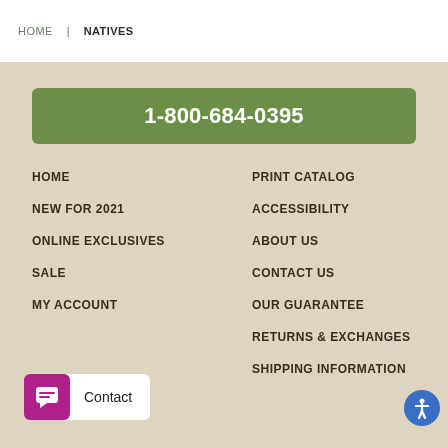HOME | NATIVES
1-800-684-0395
HOME
PRINT CATALOG
NEW FOR 2021
ACCESSIBILITY
ONLINE EXCLUSIVES
ABOUT US
SALE
CONTACT US
MY ACCOUNT
OUR GUARANTEE
WISHLIST
RETURNS & EXCHANGES
SHIPPING INFORMATION
Contact